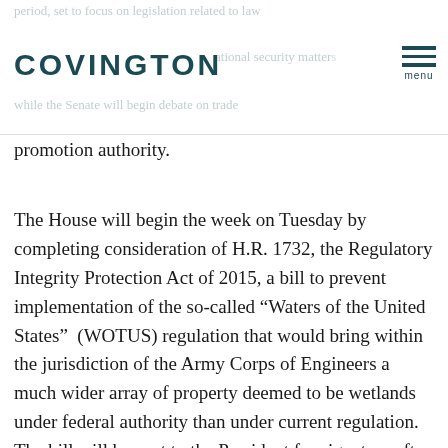COVINGTON
period, set to focus on legislation related to law national security matters while the Senate will begin debate on trade promotion authority.
The House will begin the week on Tuesday by completing consideration of H.R. 1732, the Regulatory Integrity Protection Act of 2015, a bill to prevent implementation of the so-called “Waters of the United States”  (WOTUS) regulation that would bring within the jurisdiction of the Army Corps of Engineers a much wider array of property deemed to be wetlands under federal authority than under current regulation.  The bill will be sent to the President for signature after House passage.